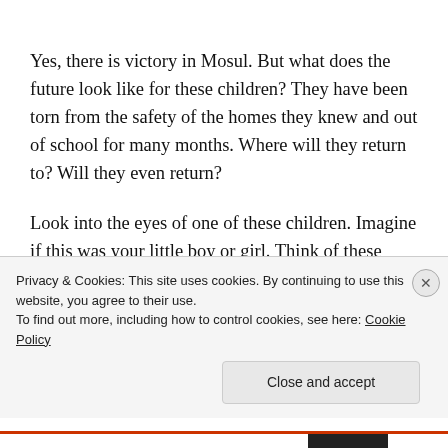Yes, there is victory in Mosul. But what does the future look like for these children? They have been torn from the safety of the homes they knew and out of school for many months. Where will they return to? Will they even return?
Look into the eyes of one of these children. Imagine if this was your little boy or girl. Think of these children when you hear the news today. Think of
Privacy & Cookies: This site uses cookies. By continuing to use this website, you agree to their use.
To find out more, including how to control cookies, see here: Cookie Policy
Close and accept